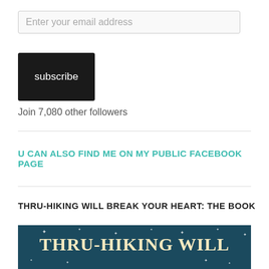Enter your email address
subscribe
Join 7,080 other followers
U CAN ALSO FIND ME ON MY PUBLIC FACEBOOK PAGE
THRU-HIKING WILL BREAK YOUR HEART: THE BOOK
[Figure (illustration): Book cover showing dark teal background with stars and the text 'THRU-HIKING WILL' in large cream/tan letters]